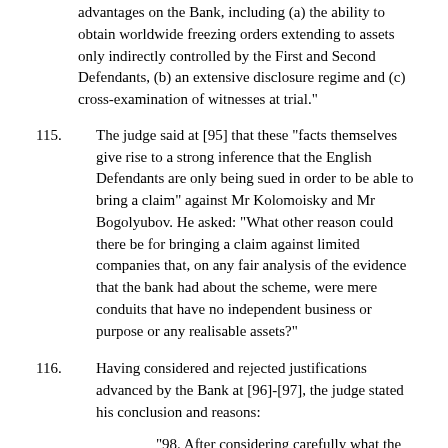advantages on the Bank, including (a) the ability to obtain worldwide freezing orders extending to assets only indirectly controlled by the First and Second Defendants, (b) an extensive disclosure regime and (c) cross-examination of witnesses at trial."
115. The judge said at [95] that these "facts themselves give rise to a strong inference that the English Defendants are only being sued in order to be able to bring a claim" against Mr Kolomoisky and Mr Bogolyubov. He asked: "What other reason could there be for bringing a claim against limited companies that, on any fair analysis of the evidence that the bank had about the scheme, were mere conduits that have no independent business or purpose or any realisable assets?"
116. Having considered and rejected justifications advanced by the Bank at [96]-[97], the judge stated his conclusion and reasons:
"98. After considering carefully what the Bank has submitted and the likelihood of the Bank suing the English Defendants if it would..."